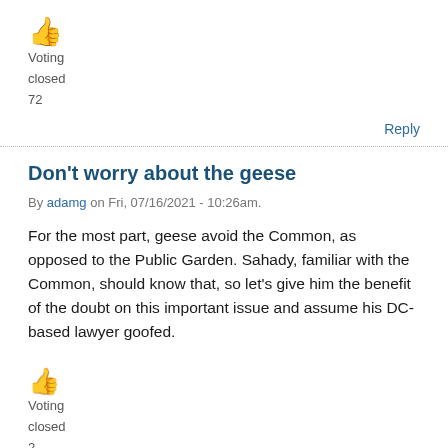[Figure (other): Thumbs up emoji icon]
Voting
closed
72
Reply
Don't worry about the geese
By adamg on Fri, 07/16/2021 - 10:26am.
For the most part, geese avoid the Common, as opposed to the Public Garden. Sahady, familiar with the Common, should know that, so let's give him the benefit of the doubt on this important issue and assume his DC-based lawyer goofed.
[Figure (other): Thumbs up emoji icon]
Voting
closed
2